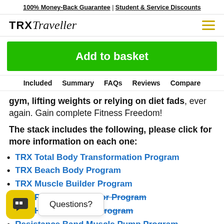100% Money-Back Guarantee | Student & Service Discounts
[Figure (logo): TRX Traveller logo with hamburger menu icon]
[Figure (other): Green Add to basket button]
Included | Summary | FAQs | Reviews | Compare
gym, lifting weights or relying on diet fads, ever again. Gain complete Fitness Freedom!
The stack includes the following, please click for more information on each one:
TRX Total Body Transformation Program
TRX Beach Body Program
TRX Muscle Builder Program
TRX Physique Sculptor Program
TRX High Intensity Program
Resistance Band Muscle Pump Program
[Figure (other): Chat widget with yellow icon and Questions? bubble]